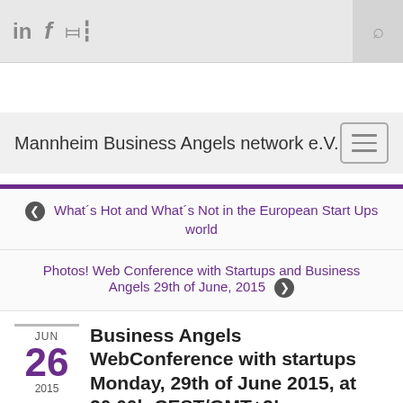in f [rss] [search]
Mannheim Business Angels network e.V.
What´s Hot and What´s Not in the European Start Ups world
Photos! Web Conference with Startups and Business Angels 29th of June, 2015
Business Angels WebConference with startups Monday, 29th of June 2015, at 20.00h CEST/GMT+2!
By admin in WebConferences